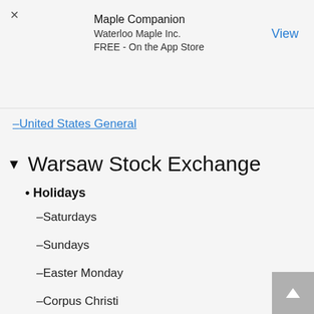[Figure (other): App store advertisement banner for Maple Companion by Waterloo Maple Inc., free on the App Store, with a close button (×) and a 'View' link]
–United States General
▼ Warsaw Stock Exchange
• Holidays
–Saturdays
–Sundays
–Easter Monday
–Corpus Christi
–New Year's Day, January 1st